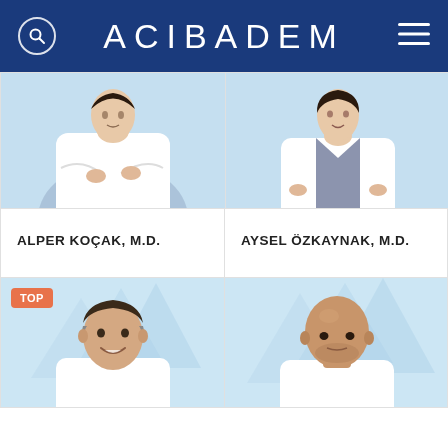ACIBADEM
[Figure (photo): Doctor in white coat with arms crossed, light blue background]
ALPER KOÇAK, M.D.
[Figure (photo): Doctor in white coat with hands on hips, light blue background]
AYSEL ÖZKAYNAK, M.D.
[Figure (photo): Male doctor smiling, light blue geometric background, TOP badge]
[Figure (photo): Bald male doctor, light blue geometric background]